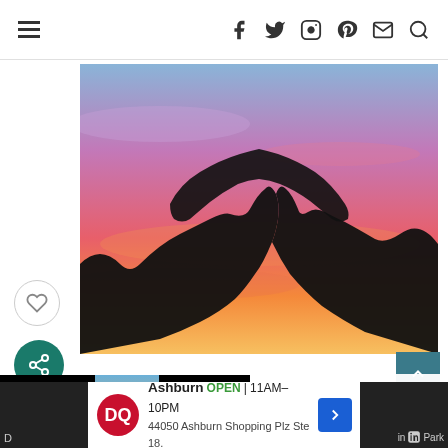Navigation header with hamburger menu and social icons: facebook, twitter, instagram, pinterest, email, search
[Figure (photo): Silhouette of two hands forming a heart shape against a vivid sunset sky with blue, purple, pink, and orange hues]
uses cookies to improve your experience. We'll assume you're ok with this, but you can opt-out if you wish.
Accept   Learn More
WHAT'S NEXT → Best Places to Dune Buggy...
Ashburn  OPEN | 11AM–10PM  44050 Ashburn Shopping Plz Ste 18.